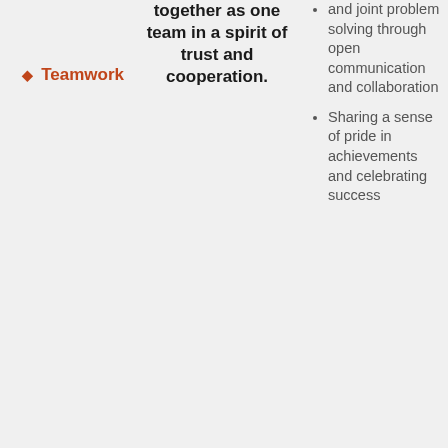Teamwork
together as one team in a spirit of trust and cooperation.
and joint problem solving through open communication and collaboration
Sharing a sense of pride in achievements and celebrating success
Integrity
We are honest and accountable
Being genuine, reliable and trustworthy, and treating others equitably
Taking responsibility for my actions,